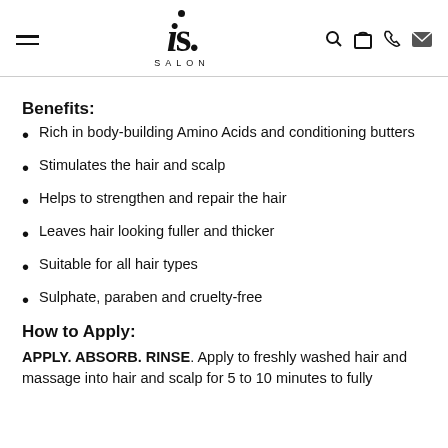is. SALON
Benefits:
Rich in body-building Amino Acids and conditioning butters
Stimulates the hair and scalp
Helps to strengthen and repair the hair
Leaves hair looking fuller and thicker
Suitable for all hair types
Sulphate, paraben and cruelty-free
How to Apply:
APPLY. ABSORB. RINSE. Apply to freshly washed hair and massage into hair and scalp for 5 to 10 minutes to fully